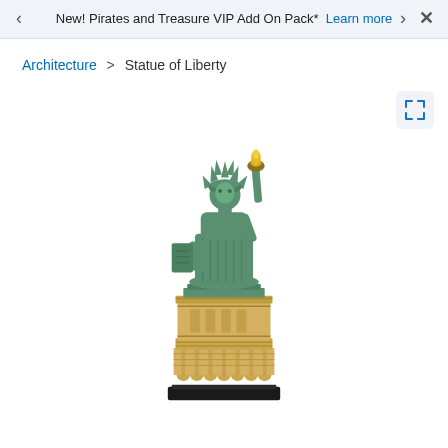New! Pirates and Treasure VIP Add On Pack* Learn more
Architecture > Statue of Liberty
[Figure (photo): LEGO Architecture Statue of Liberty set product image showing the assembled model with green patina statue on top of a tan/beige pedestal base, on a black display base]